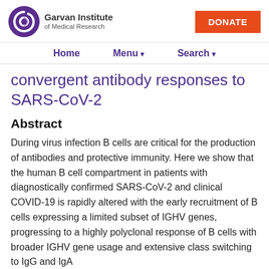Garvan Institute of Medical Research | DONATE
Home   Menu ▾   Search ▾
convergent antibody responses to SARS-CoV-2
Abstract
During virus infection B cells are critical for the production of antibodies and protective immunity. Here we show that the human B cell compartment in patients with diagnostically confirmed SARS-CoV-2 and clinical COVID-19 is rapidly altered with the early recruitment of B cells expressing a limited subset of IGHV genes, progressing to a highly polyclonal response of B cells with broader IGHV gene usage and extensive class switching to IgG and IgA